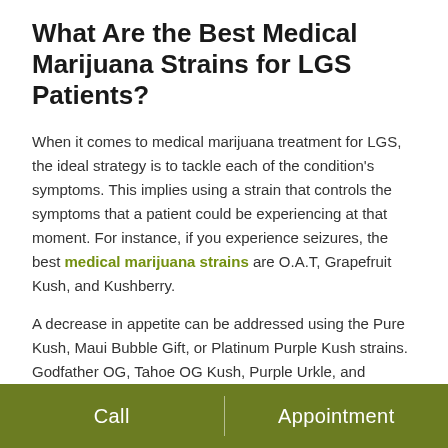What Are the Best Medical Marijuana Strains for LGS Patients?
When it comes to medical marijuana treatment for LGS, the ideal strategy is to tackle each of the condition's symptoms. This implies using a strain that controls the symptoms that a patient could be experiencing at that moment. For instance, if you experience seizures, the best medical marijuana strains are O.A.T, Grapefruit Kush, and Kushberry.
A decrease in appetite can be addressed using the Pure Kush, Maui Bubble Gift, or Platinum Purple Kush strains. Godfather OG, Tahoe OG Kush, Purple Urkle, and Granddaddy Purple are the best strains for poor sleep. LGS patients who battle anxiety and depression as a symptom of the disorder should consider the Pineapple Express, Harlequin, and Pineapple...
Call   Appointment